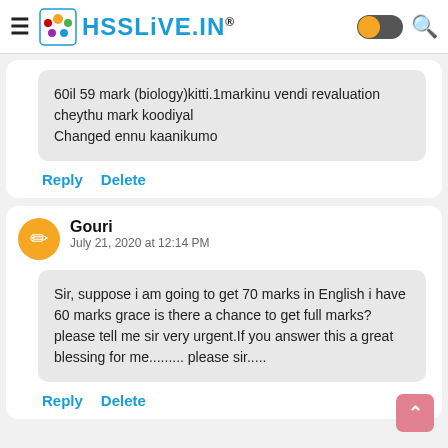HSSLiVE.IN®
60il 59 mark (biology)kitti.1markinu vendi revaluation cheythu mark koodiyal
Changed ennu kaanikumo
Reply   Delete
Gouri
July 21, 2020 at 12:14 PM
Sir, suppose i am going to get 70 marks in English i have 60 marks grace is there a chance to get full marks? please tell me sir very urgent.If you answer this a great blessing for me......... please sir.....
Reply   Delete